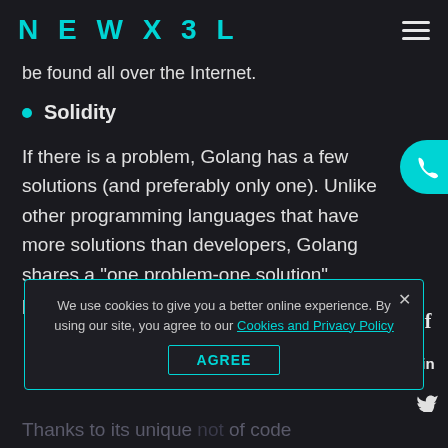NEWXEL
be found all over the Internet.
Solidity
If there is a problem, Golang has a few solutions (and preferably only one). Unlike other programming languages that have more solutions than developers, Golang shares a "one problem-one solution" philosophy.
We use cookies to give you a better online experience. By using our site, you agree to our Cookies and Privacy Policy
Thanks to its unique not of code